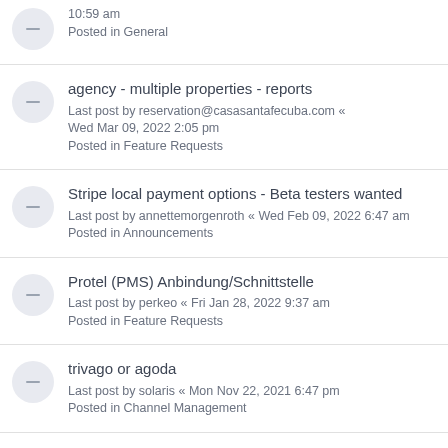10:59 am
Posted in General
agency - multiple properties - reports
Last post by reservation@casasantafecuba.com « Wed Mar 09, 2022 2:05 pm
Posted in Feature Requests
Stripe local payment options - Beta testers wanted
Last post by annettemorgenroth « Wed Feb 09, 2022 6:47 am
Posted in Announcements
Protel (PMS) Anbindung/Schnittstelle
Last post by perkeo « Fri Jan 28, 2022 9:37 am
Posted in Feature Requests
trivago or agoda
Last post by solaris « Mon Nov 22, 2021 6:47 pm
Posted in Channel Management
[Resolved] Expedia: 2021-09-11 Bookings not sent